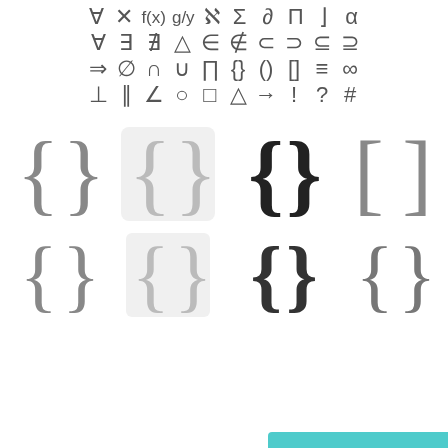[Figure (illustration): Mathematical and logical symbols displayed in rows: row 1: for-all, X, f(x), fraction, aleph, sigma, delta/partial, pi, bracket, alpha; row 2: for-all, there-exists, not-exists, delta, in, not-in, subset, superset, subset-equal, superset-equal; row 3: implies, empty-set, intersection, union, product, braces, parentheses, brackets, triple-equal, infinity; row 4: perpendicular, parallel, angle, circle, square, triangle, arrow, exclamation, question, hash. Below: large display of brace and bracket variants in two rows of four.]